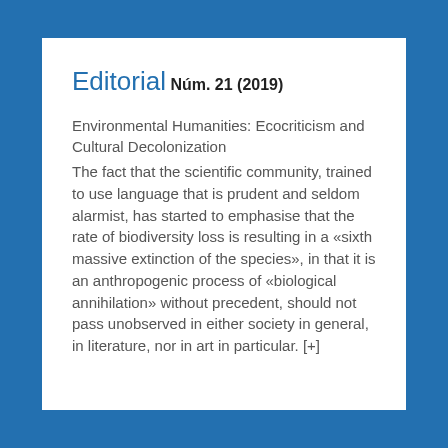Editorial
Núm. 21 (2019)
Environmental Humanities: Ecocriticism and Cultural Decolonization
The fact that the scientific community, trained to use language that is prudent and seldom alarmist, has started to emphasise that the rate of biodiversity loss is resulting in a «sixth massive extinction of the species», in that it is an anthropogenic process of «biological annihilation» without precedent, should not pass unobserved in either society in general, in literature, nor in art in particular. [+]